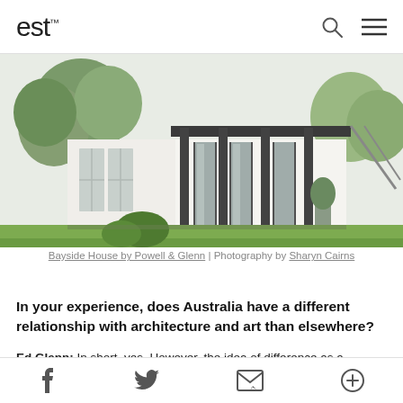est (logo) with search and menu icons
[Figure (photo): Exterior photo of Bayside House by Powell & Glenn — a white rendered single-storey house with dark vertical columns, large glazed doors, lush green lawn in foreground, trees on left.]
Bayside House by Powell & Glenn | Photography by Sharyn Cairns
In your experience, does Australia have a different relationship with architecture and art than elsewhere?
Ed Glenn: In short, yes. However, the idea of difference as a national concept is more interesting. There is as much difference within Australia than there is outside. People have different views, cultures, and experiences and it feels overly…
Social share bar with Facebook, Twitter, email, and plus icons